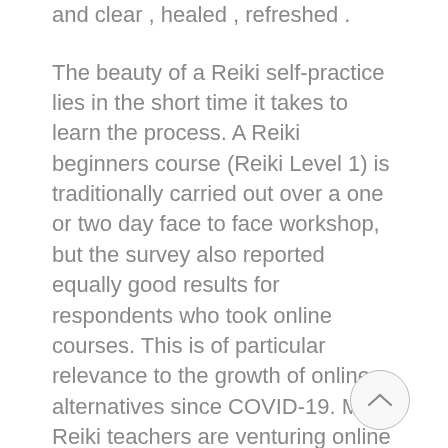and clear , healed , refreshed .
The beauty of a Reiki self-practice lies in the short time it takes to learn the process. A Reiki beginners course (Reiki Level 1) is traditionally carried out over a one or two day face to face workshop, but the survey also reported equally good results for respondents who took online courses. This is of particular relevance to the growth of online alternatives since COVID-19. Many Reiki teachers are venturing online either through recorded videos and materials or via live video classes.